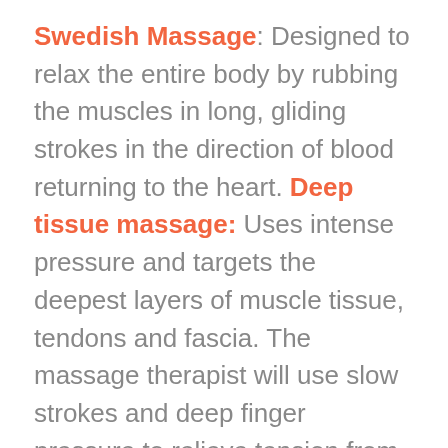Swedish Massage: Designed to relax the entire body by rubbing the muscles in long, gliding strokes in the direction of blood returning to the heart. Deep tissue massage: Uses intense pressure and targets the deepest layers of muscle tissue, tendons and fascia. The massage therapist will use slow strokes and deep finger pressure to relieve tension from the deepest layers of your muscles and connective tissues. Acupressure: This type of massage stimulates vital spots on the body to